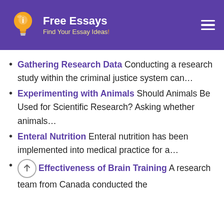[Figure (logo): Free Essays website header with lightbulb logo icon, white text 'Free Essays' and yellow subtitle 'Find Your Essay Ideas!' on purple background, with hamburger menu icon on right]
Gathering Research Data Conducting a research study within the criminal justice system can...
Experimenting with Animals Should Animals Be Used for Scientific Research? Asking whether animals...
Enteral Nutrition Enteral nutrition has been implemented into medical practice for a...
Effectiveness of Brain Training A research team from Canada conducted the